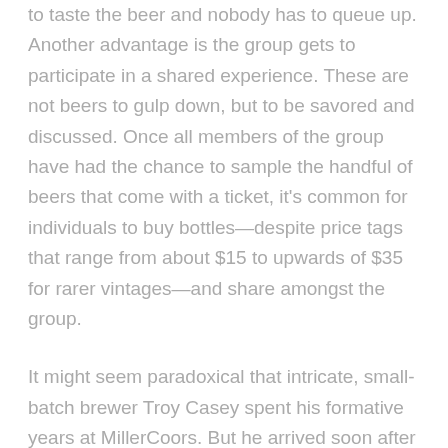to taste the beer and nobody has to queue up. Another advantage is the group gets to participate in a shared experience. These are not beers to gulp down, but to be savored and discussed. Once all members of the group have had the chance to sample the handful of beers that come with a ticket, it's common for individuals to buy bottles—despite price tags that range from about $15 to upwards of $35 for rarer vintages—and share amongst the group.
It might seem paradoxical that intricate, small-batch brewer Troy Casey spent his formative years at MillerCoors. But he arrived soon after the giant